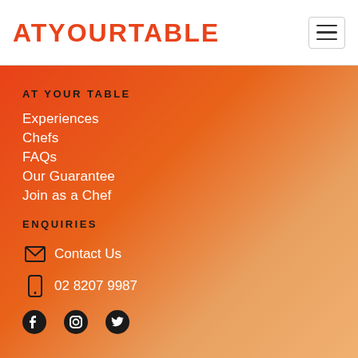AT YOUR TABLE
AT YOUR TABLE
Experiences
Chefs
FAQs
Our Guarantee
Join as a Chef
ENQUIRIES
Contact Us
02 8207 9987